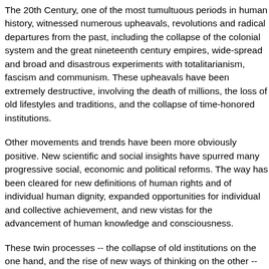The 20th Century, one of the most tumultuous periods in human history, witnessed numerous upheavals, revolutions and radical departures from the past, including the collapse of the colonial system and the great nineteenth century empires, wide-spread and broad and disastrous experiments with totalitarianism, fascism and communism. These upheavals have been extremely destructive, involving the death of millions, the loss of old lifestyles and traditions, and the collapse of time-honored institutions.
Other movements and trends have been more obviously positive. New scientific and social insights have spurred many progressive social, economic and political reforms. The way has been cleared for new definitions of human rights and of individual human dignity, expanded opportunities for individual and collective achievement, and new vistas for the advancement of human knowledge and consciousness.
These twin processes -- the collapse of old institutions on the one hand, and the rise of new ways of thinking on the other -- are evidence of a single trend that has been gaining momentum during the last hundred years: the trend toward ever-greater unity, cooperation and integration of humanity.
This trend is observable in wide-ranging phenomena, from the